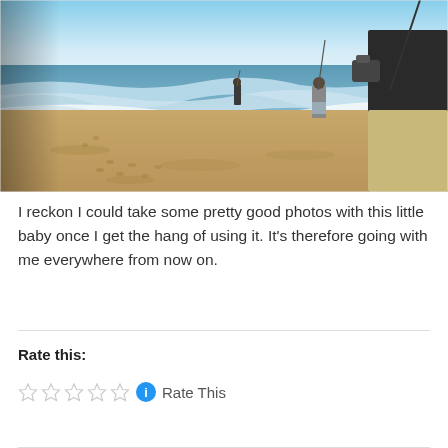[Figure (photo): Three people fishing on a sandy beach near the ocean waves. One person is in the foreground on the right wearing dark top and khaki pants, another stands in the middle distance, and a third is near the water's edge. Fishing rods are visible. Blue sky with light haze above the ocean.]
I reckon I could take some pretty good photos with this little baby once I get the hang of using it. It's therefore going with me everywhere from now on.
Rate this:
Rate This